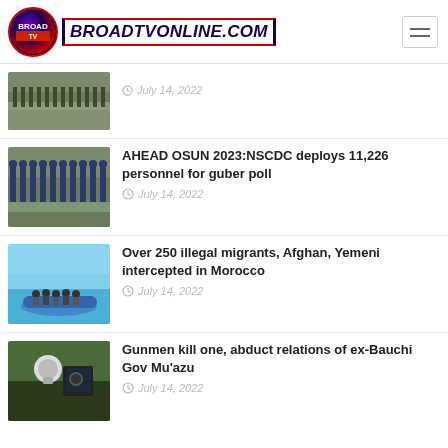BROADTVONLINE.COM
July 14, 2022
AHEAD OSUN 2023:NSCDC deploys 11,226 personnel for guber poll — July 14, 2022
Over 250 illegal migrants, Afghan, Yemeni intercepted in Morocco — July 14, 2022
Gunmen kill one, abduct relations of ex-Bauchi Gov Mu'azu — July 14, 2022